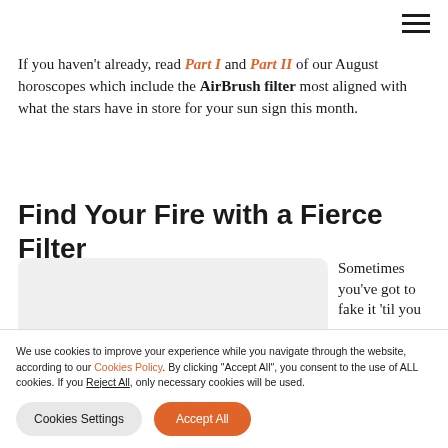≡
If you haven't already, read Part I and Part II of our August horoscopes which include the AirBrush filter most aligned with what the stars have in store for your sun sign this month.
Find Your Fire with a Fierce Filter
[Figure (photo): Light grey rounded rectangle image placeholder with decorative ring shapes at the bottom center]
Sometimes you've got to fake it 'til you
We use cookies to improve your experience while you navigate through the website, according to our Cookies Policy. By clicking "Accept All", you consent to the use of ALL cookies. If you Reject All, only necessary cookies will be used.
Cookies Settings    Accept All